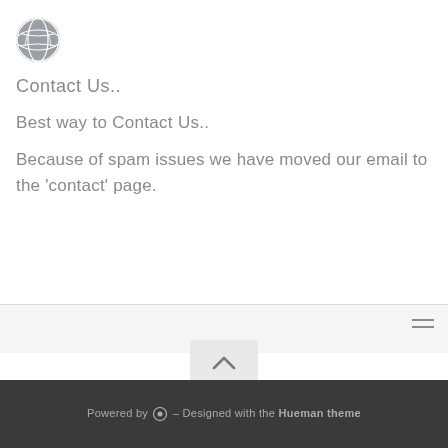[Figure (logo): Circular globe/world icon in grey]
Contact Us..
Best way to Contact Us..
Because of spam issues we have moved our email to the 'contact' page.
[Figure (other): Hamburger menu icon (three horizontal lines)]
[Figure (other): Back to top chevron button]
Powered by WordPress – Designed with the Hueman theme